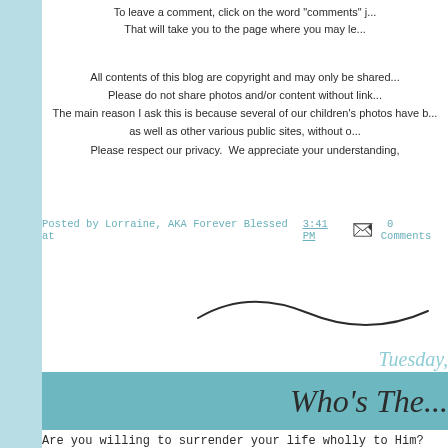To leave a comment, click on the word "comments" j... That will take you to the page where you may le...
All contents of this blog are copyright and may only be shared... Please do not share photos and/or content without link... The main reason I ask this is because several of our children's photos have b... as well as other various public sites, without o... Please respect our privacy. We appreciate your understanding,
Posted by Lorraine, AKA Forever Blessed at 3:41 PM   0 Comments
[Figure (illustration): Cursive signature/decorative swirl illustration]
Tuesday,
Who's The...
Are you willing to surrender your life wholly to Him? He... I pray that one day I will be blessed to hear my Boss s...